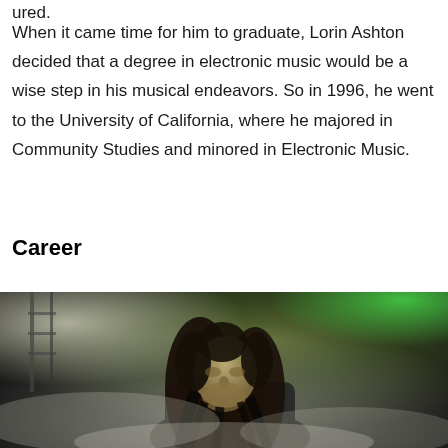ured.
When it came time for him to graduate, Lorin Ashton decided that a degree in electronic music would be a wise step in his musical endeavors. So in 1996, he went to the University of California, where he majored in Community Studies and minored in Electronic Music.
Career
[Figure (photo): A performer with long dark hair on stage, lit by green and white stage lights with fog/haze in the background. The person is looking downward.]